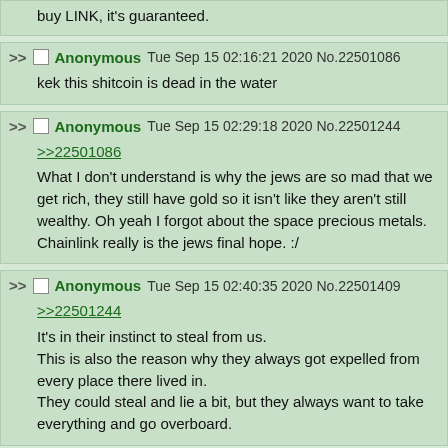buy LINK, it's guaranteed.
Anonymous Tue Sep 15 02:16:21 2020 No.22501086
kek this shitcoin is dead in the water
Anonymous Tue Sep 15 02:29:18 2020 No.22501244
>>22501086
What I don't understand is why the jews are so mad that we get rich, they still have gold so it isn't like they aren't still wealthy. Oh yeah I forgot about the space precious metals. Chainlink really is the jews final hope. :/
Anonymous Tue Sep 15 02:40:35 2020 No.22501409
>>22501244
It's in their instinct to steal from us.
This is also the reason why they always got expelled from every place there lived in.
They could steal and lie a bit, but they always want to take everything and go overboard.